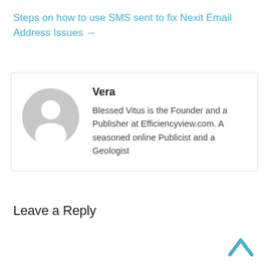Steps on how to use SMS sent to fix Nexit Email Address Issues →
[Figure (illustration): Grey circular default user avatar/profile icon]
Vera
Blessed Vitus is the Founder and a Publisher at Efficiencyview.com. A seasoned online Publicist and a Geologist
Leave a Reply
[Figure (illustration): Blue chevron/caret up arrow pointing upward, back-to-top button]